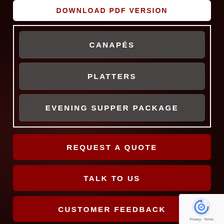DOWNLOAD PDF VERSION
CANAPÉS
PLATTERS
EVENING SUPPER PACKAGE
REQUEST A QUOTE
TALK TO US
CUSTOMER FEEDBACK